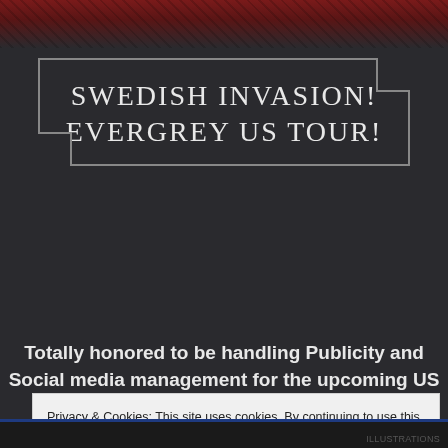[Figure (photo): Dark reddish-brown banner image strip at the top of the page, partially visible background photo with dark overlay]
SWEDISH INVASION!
EVERGREY US TOUR!
Totally honored to be handling Publicity and Social media management for the upcoming US
Privacy & Cookies: This site uses cookies. By continuing to use this website, you agree to their use.
To find out more, including how to control cookies, see here: Cookie Policy
Close and accept